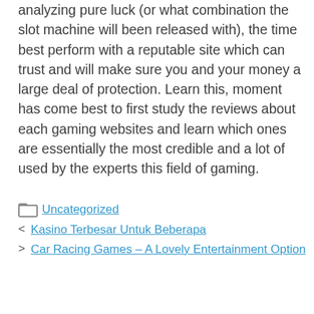analyzing pure luck (or what combination the slot machine will been released with), the time best perform with a reputable site which can trust and will make sure you and your money a large deal of protection. Learn this, moment has come best to first study the reviews about each gaming websites and learn which ones are essentially the most credible and a lot of used by the experts this field of gaming.
Uncategorized
< Kasino Terbesar Untuk Beberapa
> Car Racing Games – A Lovely Entertainment Option